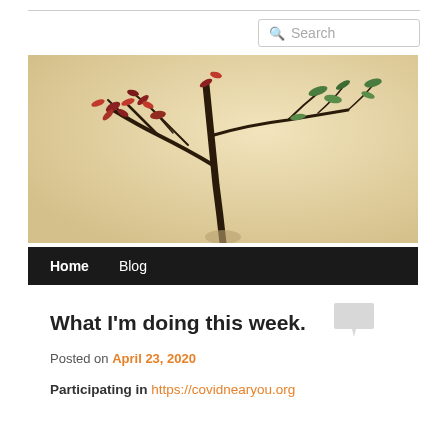Search
[Figure (photo): A bonsai tree with sparse branches and small green and reddish leaves against a light beige/cream background. A black navigation bar at the bottom shows 'Home' and 'Blog' menu items.]
What I'm doing this week.
Posted on April 23, 2020
Participating in https://covidnearyou.org